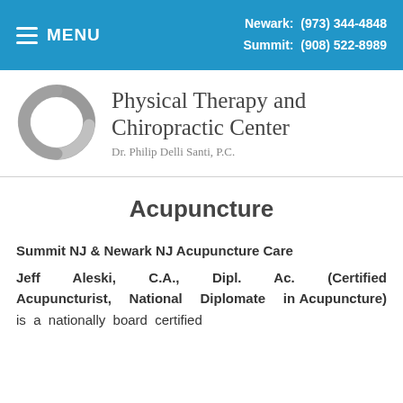Newark: (973) 344-4848  Summit: (908) 522-8989  MENU
[Figure (logo): Circular grey twisted ribbon logo for Physical Therapy and Chiropractic Center]
Physical Therapy and Chiropractic Center
Dr. Philip Delli Santi, P.C.
Acupuncture
Summit NJ & Newark NJ Acupuncture Care
Jeff Aleski, C.A., Dipl. Ac. (Certified Acupuncturist, National Diplomate in Acupuncture) is a nationally board certified